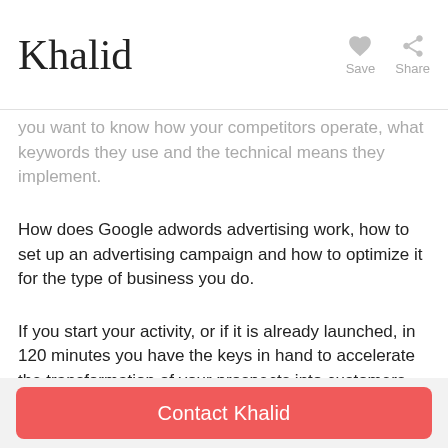Khalid
You want to know how your competitors operate, what keywords they use and the technical means they implement.
How does Google adwords advertising work, how to set up an advertising campaign and how to optimize it for the type of business you do.
If you start your activity, or if it is already launched, in 120 minutes you have the keys in hand to accelerate the transformation of your prospects into customers.
Location
At student's location: Around Brussels, Belgium
Online via webcam
At teacher's location: Around Saint-Gilles, Belgium (partially visible)
Contact Khalid